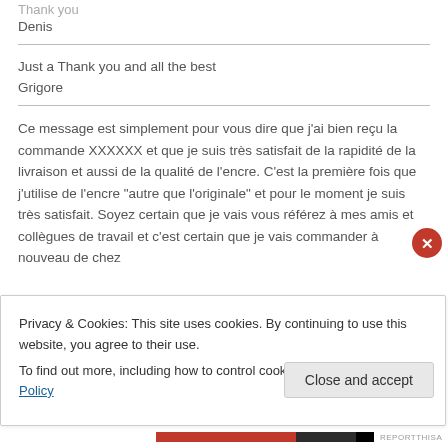Thank you
Denis
Just a Thank you and all the best
Grigore
Ce message est simplement pour vous dire que j'ai bien reçu la commande XXXXXX et que je suis très satisfait de la rapidité de la livraison et aussi de la qualité de l'encre. C'est la première fois que j'utilise de l'encre "autre que l'originale" et pour le moment je suis très satisfait. Soyez certain que je vais vous référez à mes amis et collègues de travail et c'est certain que je vais commander à nouveau de chez
Privacy & Cookies: This site uses cookies. By continuing to use this website, you agree to their use. To find out more, including how to control cookies, see here: Cookie Policy
Close and accept